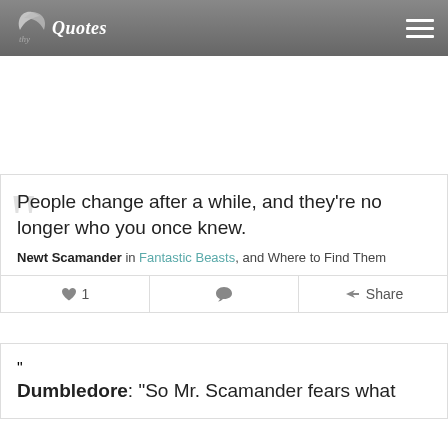thyQuotes [menu icon]
People change after a while, and they're no longer who you once knew.
Newt Scamander in Fantastic Beasts, and Where to Find Them
♥ 1  [comment icon]  [share icon] Share
Dumbledore: "So Mr. Scamander fears what